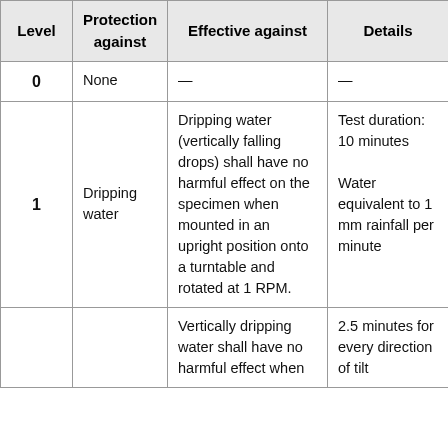| Level | Protection against | Effective against | Details |
| --- | --- | --- | --- |
| 0 | None | — | — |
| 1 | Dripping water | Dripping water (vertically falling drops) shall have no harmful effect on the specimen when mounted in an upright position onto a turntable and rotated at 1 RPM. | Test duration: 10 minutes

Water equivalent to 1 mm rainfall per minute |
|  |  | Vertically dripping water shall have no harmful effect when | 2.5 minutes for every direction of tilt |